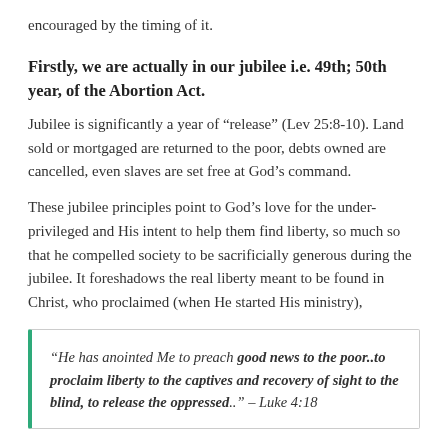encouraged by the timing of it.
Firstly, we are actually in our jubilee i.e. 49th; 50th year, of the Abortion Act.
Jubilee is significantly a year of “release” (Lev 25:8-10). Land sold or mortgaged are returned to the poor, debts owned are cancelled, even slaves are set free at God’s command.
These jubilee principles point to God’s love for the under-privileged and His intent to help them find liberty, so much so that he compelled society to be sacrificially generous during the jubilee. It foreshadows the real liberty meant to be found in Christ, who proclaimed (when He started His ministry),
“He has anointed Me to preach good news to the poor..to proclaim liberty to the captives and recovery of sight to the blind, to release the oppressed..” – Luke 4:18